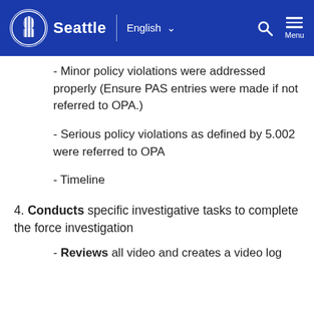Seattle | English ∨  🔍 Menu
- Minor policy violations were addressed properly (Ensure PAS entries were made if not referred to OPA.)
- Serious policy violations as defined by 5.002 were referred to OPA
- Timeline
4. Conducts specific investigative tasks to complete the force investigation
- Reviews all video and creates a video log